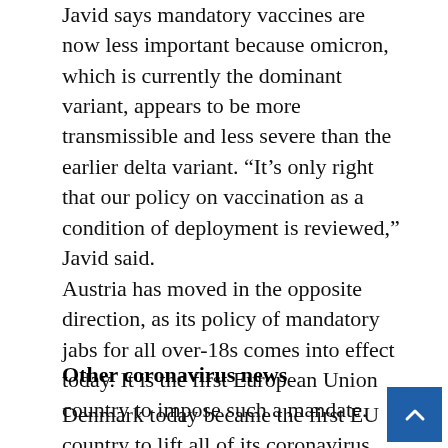Javid says mandatory vaccines are now less important because omicron, which is currently the dominant variant, appears to be more transmissible and less severe than the earlier delta variant. “It’s only right that our policy on vaccination as a condition of deployment is reviewed,” Javid said.
Austria has moved in the opposite direction, as its policy of mandatory jabs for all over-18s comes into effect today. It is the first European Union country to impose such a mandate.
Other coronavirus news
Denmark today became the first EU country to lift all of its coronavirus restrictions, despite daily cases of between 40,000 to 50,000, or 1 per cent of its population. Denmark’s health authorities hope